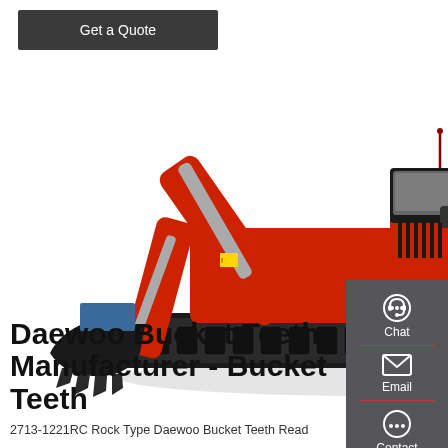Get a Quote
[Figure (photo): Red and black mini excavator with bucket attachment, photographed on a light concrete surface from a left three-quarter angle. The machine has a compact tracked undercarriage, hydraulic arm with bucket teeth, and visible hydraulic hoses.]
Chat
Email
Contact
Daewoo Bucket Teeth Manufacturer - Bucket Teeth
2713-1221RC Rock Type Daewoo Bucket Teeth Read